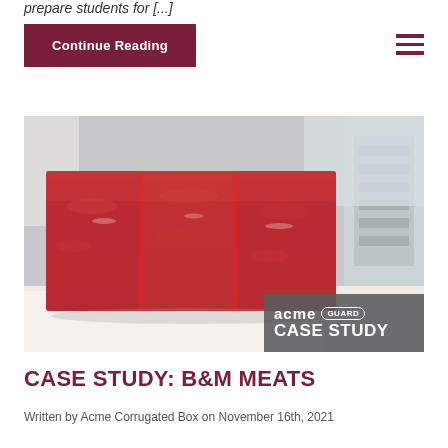prepare students for [...]
Continue Reading
[Figure (photo): Three rectangular blocks of raw ground beef/meat stacked together on a white surface in a food processing environment. Bottom-right corner shows Acme Guard Case Study badge overlay.]
CASE STUDY: B&M MEATS
Written by Acme Corrugated Box on November 16th, 2021